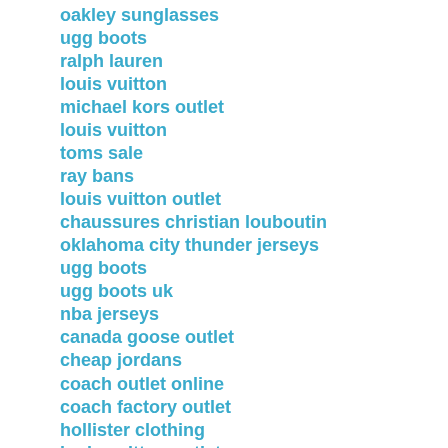oakley sunglasses
ugg boots
ralph lauren
louis vuitton
michael kors outlet
louis vuitton
toms sale
ray bans
louis vuitton outlet
chaussures christian louboutin
oklahoma city thunder jerseys
ugg boots
ugg boots uk
nba jerseys
canada goose outlet
cheap jordans
coach outlet online
coach factory outlet
hollister clothing
louis vuitton outlet
nike tn pas cher
adidas yeezy
ugg outlet